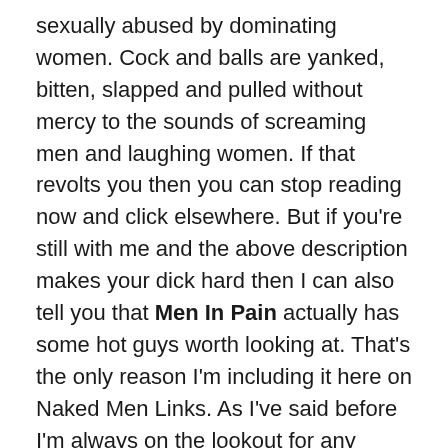sexually abused by dominating women. Cock and balls are yanked, bitten, slapped and pulled without mercy to the sounds of screaming men and laughing women. If that revolts you then you can stop reading now and click elsewhere. But if you're still with me and the above description makes your dick hard then I can also tell you that Men In Pain actually has some hot guys worth looking at. That's the only reason I'm including it here on Naked Men Links. As I've said before I'm always on the lookout for any pornsite that has hot naked guys, even straight sites or extreme fetish sites like this one. To see more follow the below links, but just be prepared for some shocking images that may make you instinctively grab your crotch for protection!
And if you really get off on this type of porn you